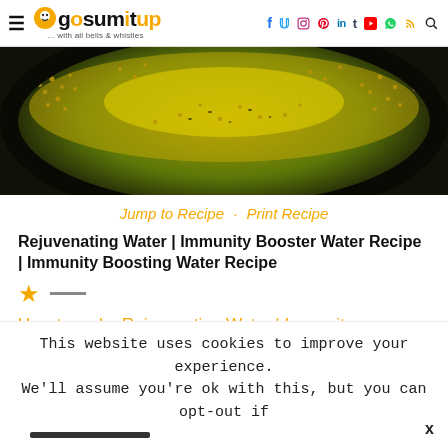gosumitup ... with all bells & whistles | navigation icons: facebook, twitter, instagram, pinterest, linkedin, tumblr, youtube, whatsapp, rss, search
[Figure (photo): Close-up photo of seeds (mustard/coriander) floating in yellowish-green liquid in a dark metal vessel]
Jump to Recipe · Print Recipe
Rejuvenating Water | Immunity Booster Water Recipe | Immunity Boosting Water Recipe
★ —
How to make Rejuvenating Water | Immunity Booster Water Recipe | Immunity Boosting
This website uses cookies to improve your experience. We'll assume you're ok with this, but you can opt-out if